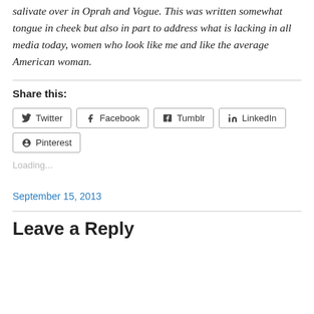salivate over in Oprah and Vogue. This was written somewhat tongue in cheek but also in part to address what is lacking in all media today, women who look like me and like the average American woman.
Share this:
Twitter Facebook Tumblr LinkedIn Pinterest
Loading...
September 15, 2013
Leave a Reply